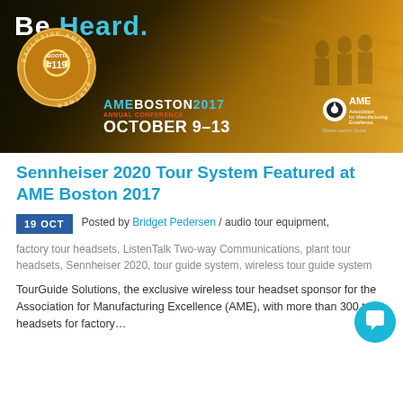[Figure (photo): AME Boston 2017 conference banner with 'Be Heard.' text, Booth #119 badge, AME Boston 2017 Annual Conference October 9-13 event details, and AME Association for Manufacturing Excellence logo.]
Sennheiser 2020 Tour System Featured at AME Boston 2017
19 OCT   Posted by Bridget Pedersen / audio tour equipment, factory tour headsets, ListenTalk Two-way Communications, plant tour headsets, Sennheiser 2020, tour guide system, wireless tour guide system
TourGuide Solutions, the exclusive wireless tour headset sponsor for the Association for Manufacturing Excellence (AME), with more than 300 tour headsets for factory...